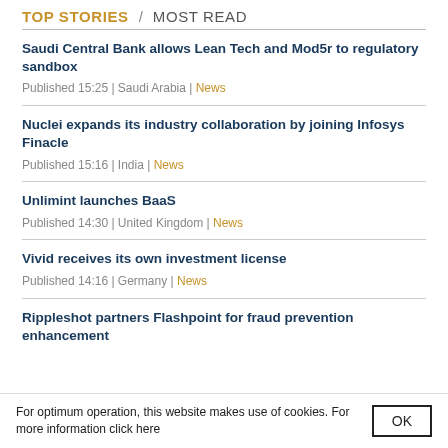TOP STORIES / MOST READ
Saudi Central Bank allows Lean Tech and Mod5r to regulatory sandbox
Published 15:25 | Saudi Arabia | News
Nuclei expands its industry collaboration by joining Infosys Finacle
Published 15:16 | India | News
Unlimint launches BaaS
Published 14:30 | United Kingdom | News
Vivid receives its own investment license
Published 14:16 | Germany | News
Rippleshot partners Flashpoint for fraud prevention enhancement
For optimum operation, this website makes use of cookies. For more information click here